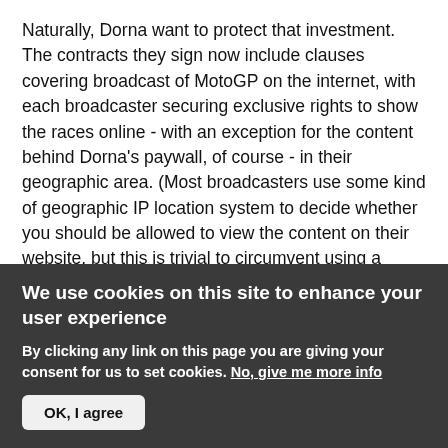Naturally, Dorna want to protect that investment. The contracts they sign now include clauses covering broadcast of MotoGP on the internet, with each broadcaster securing exclusive rights to show the races online - with an exception for the content behind Dorna's paywall, of course - in their geographic area. (Most broadcasters use some kind of geographic IP location system to decide whether you should be allowed to view the content on their website, but this is trivial to circumvent using a proxy. So trivial, there are even instructions on websites such as Lifehacker.) As part of their deal, they police Youtube extremely aggressively, ensuring any parts of the races posted are
We use cookies on this site to enhance your user experience
By clicking any link on this page you are giving your consent for us to set cookies. No, give me more info
OK, I agree